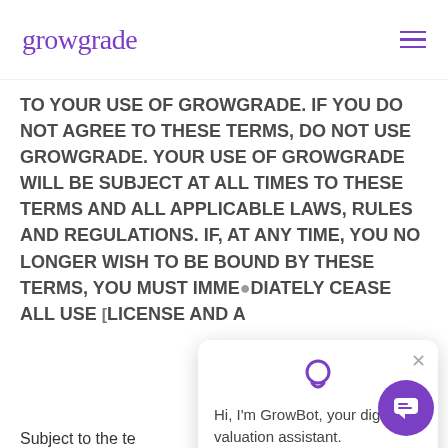growgrade
TO YOUR USE OF GROWGRADE. IF YOU DO NOT AGREE TO THESE TERMS, DO NOT USE GROWGRADE. YOUR USE OF GROWGRADE WILL BE SUBJECT AT ALL TIMES TO THESE TERMS AND ALL APPLICABLE LAWS, RULES AND REGULATIONS. IF, AT ANY TIME, YOU NO LONGER WISH TO BE BOUND BY THESE TERMS, YOU MUST IMMEDIATELY CEASE ALL USE [OF GROWGRADE AND THE LICENSE AND A...]
Subject to the te[rms and conditions of] these Terms, and payment by you of all fees (if any) owed to Bank for or in connection with your use of GrowGrade, Bank hereby grants to you, and you
[Figure (screenshot): GrowBot chat popup widget showing a chat icon with the message: Hi, I'm GrowBot, your digital valuation assistant. With a close (X) button and a purple chat button at the bottom right.]